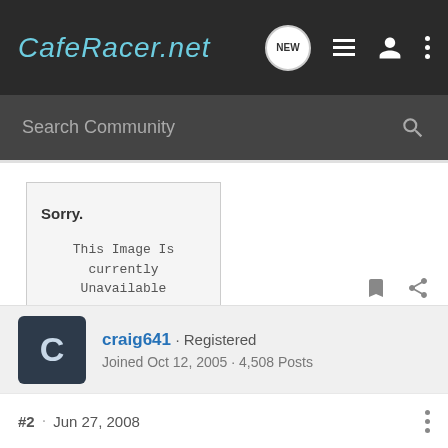CafeRacer.net
Search Community
[Figure (screenshot): Photobucket unavailable image placeholder showing 'Sorry. This Image Is Currently Unavailable' with photobucket logo at bottom]
craig641 · Registered
Joined Oct 12, 2005 · 4,508 Posts
#2 · Jun 27, 2008